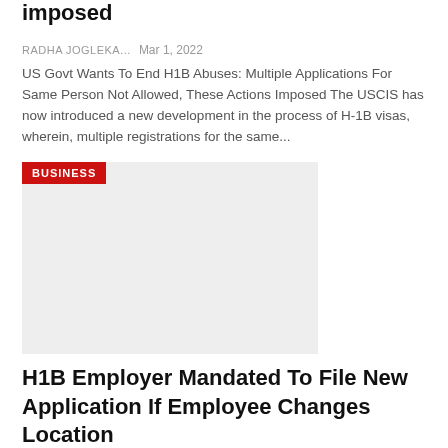imposed
RADHA JOGLEKA...   Mar 1, 2022
US Govt Wants To End H1B Abuses: Multiple Applications For Same Person Not Allowed, These Actions Imposed The USCIS has now introduced a new development in the process of H-1B visas, wherein, multiple registrations for the same...
[Figure (photo): Image placeholder with BUSINESS badge label in red]
H1B Employer Mandated To File New Application If Employee Changes Location
ROHIT KULKARNI...   Feb 25, 2022
The requirement to support employers to apply for an amended H-1B (application) visa with the United States Citizenship and Immigration Services (USCIS) has been upheld by the US regional court. The ITServe Alliance, however, may apply...